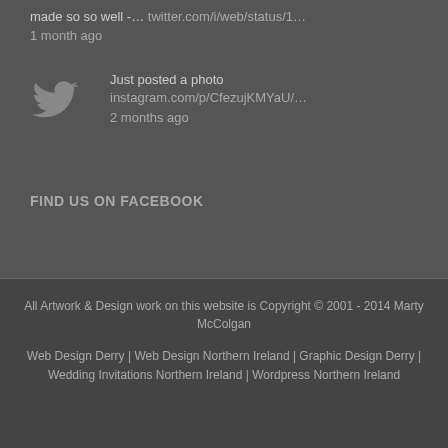made so so well -... twitter.com/i/web/status/1…
1 month ago
Just posted a photo instagram.com/p/CfezujKMYaU/…
2 months ago
FIND US ON FACEBOOK
All Artwork & Design work on this website is Copyright © 2001 - 2014 Marty McColgan
Web Design Derry | Web Design Northern Ireland | Graphic Design Derry | Wedding Invitations Northern Ireland | Wordpress Northern Ireland